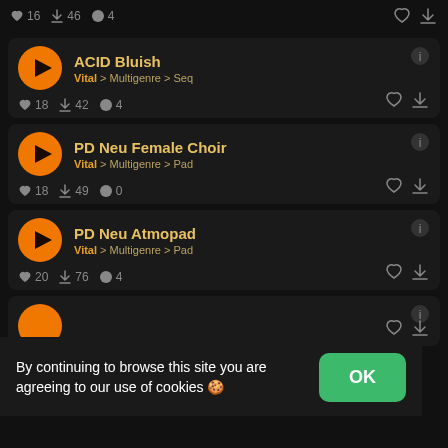16 likes, 46 downloads, 4 comments — top bar
ACID Bluish — Vital > Multigenre > Seq — 18 likes, 42 downloads, 4 comments
PD Neu Female Choir — Vital > Multigenre > Pad — 18 likes, 49 downloads, 0 comments
PD Neu Atmopad — Vital > Multigenre > Pad — 20 likes, 76 downloads, 4 comments
By continuing to browse this site you are agreeing to our use of cookies 🍪